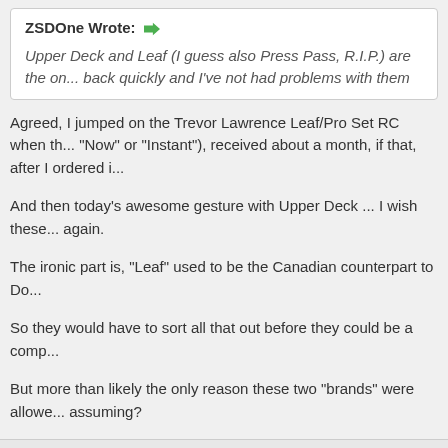ZSDOne Wrote: →
Upper Deck and Leaf (I guess also Press Pass, R.I.P.) are the on... back quickly and I've not had problems with them
Agreed, I jumped on the Trevor Lawrence Leaf/Pro Set RC when th... "Now" or "Instant"), received about a month, if that, after I ordered i...
And then today's awesome gesture with Upper Deck ... I wish these... again.
The ironic part is, "Leaf" used to be the Canadian counterpart to Do...
So they would have to sort all that out before they could be a comp...
But more than likely the only reason these two "brands" were allowe... assuming?
Find
fred bear
Jr. Member
Leave a message